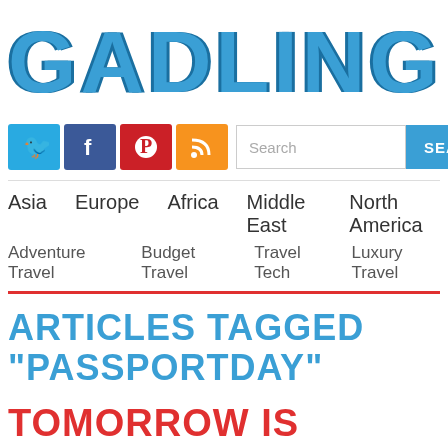GADLING
[Figure (logo): Social media icons: Twitter (blue), Facebook (dark blue), Pinterest (red), RSS (orange)]
Search  SEARCH
Asia   Europe   Africa   Middle East   North America
Adventure Travel   Budget Travel   Travel Tech   Luxury Travel
ARTICLES TAGGED "PASSPORTDAY"
TOMORROW IS PASSPORT DAY IN THE USA